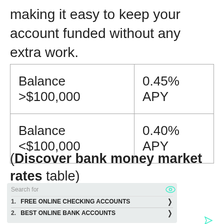making it easy to keep your account funded without any extra work.
|  |  |
| --- | --- |
| Balance >$100,000 | 0.45% APY |
| Balance <$100,000 | 0.40% APY |
(Discover bank money market rates table)
[Figure (screenshot): Search advertisement box with 'Search for' label, eye icon, two list items: 1. FREE ONLINE CHECKING ACCOUNTS with arrow, 2. BEST ONLINE BANK ACCOUNTS with arrow, and a send icon at bottom right.]